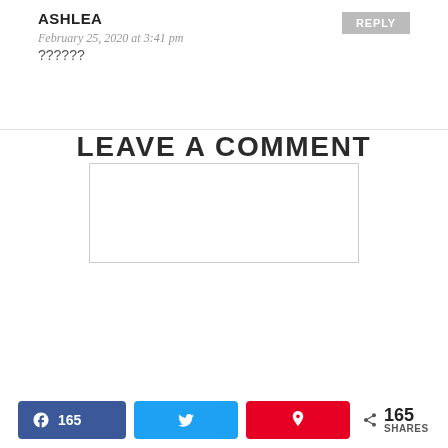ASHLEA
February 25, 2020 at 3:41 pm
??????
LEAVE A COMMENT
165 SHARES